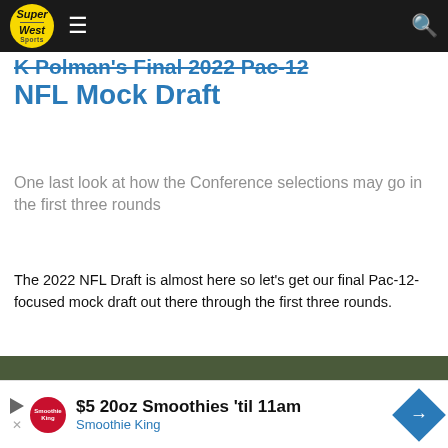SuperWest Sports navigation bar
K Polman's Final 2022 Pac-12 NFL Mock Draft
One last look at how the Conference selections may go in the first three rounds
The 2022 NFL Draft is almost here so let's get our final Pac-12-focused mock draft out there through the first three rounds.
[Figure (photo): USC football player wearing number 15 in white and gold uniform diving to catch a football, with opposing players in dark uniforms in the background]
$5 20oz Smoothies 'til 11am Smoothie King